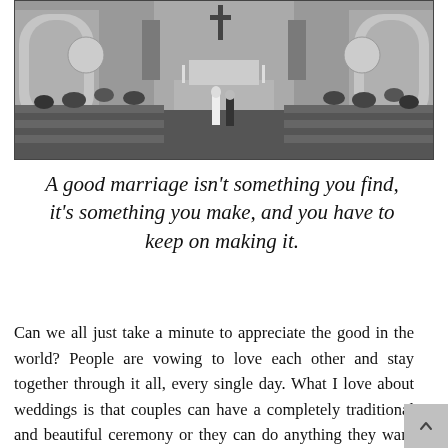[Figure (photo): Black and white photograph of a wedding ceremony inside a large church. The couple stands at the altar with guests seated in pews on either side. The church interior features arched windows, ornate decorations, and a crucifix above the altar.]
A good marriage isn't something you find, it's something you make, and you have to keep on making it.
Can we all just take a minute to appreciate the good in the world? People are vowing to love each other and stay together through it all, every single day. What I love about weddings is that couples can have a completely traditional and beautiful ceremony or they can do anything they want and at the end of the day all that